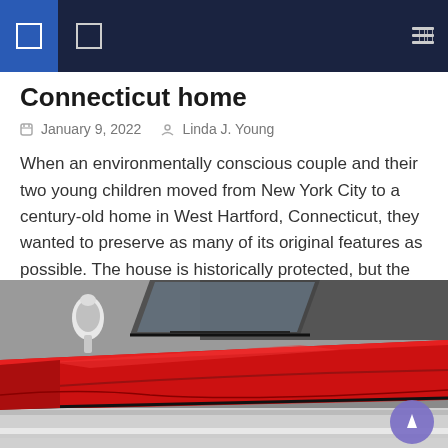Navigation bar with icons
Connecticut home
January 9, 2022   Linda J. Young
When an environmentally conscious couple and their two young children moved from New York City to a century-old home in West Hartford, Connecticut, they wanted to preserve as many of its original features as possible. The house is historically protected, but the family needed the property to work for them as a comfortable and practical [...]
[Figure (illustration): Close-up illustration of a red vintage/classic car showing the hood, side mirror and windshield area, with a grey background. A purple circular scroll button is visible in the lower right.]